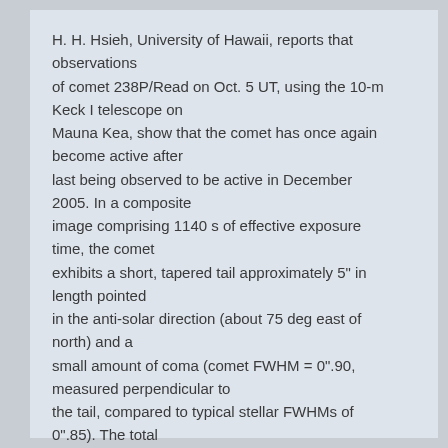H. H. Hsieh, University of Hawaii, reports that observations of comet 238P/Read on Oct. 5 UT, using the 10-m Keck I telescope on Mauna Kea, show that the comet has once again become active after last being observed to be active in December 2005. In a composite image comprising 1140 s of effective exposure time, the comet exhibits a short, tapered tail approximately 5" in length pointed in the anti-solar direction (about 75 deg east of north) and a small amount of coma (comet FWHM = 0".90, measured perpendicular to the tail, compared to typical stellar FWHMs of 0".85). The total R-band magnitude (measured inside a 2".0 aperture) was 22.25 +/- 0.05. This comet is notable for being the second main-belt comet (MBC; Hsieh and Jewitt 2006, Science 312, 561) to have been